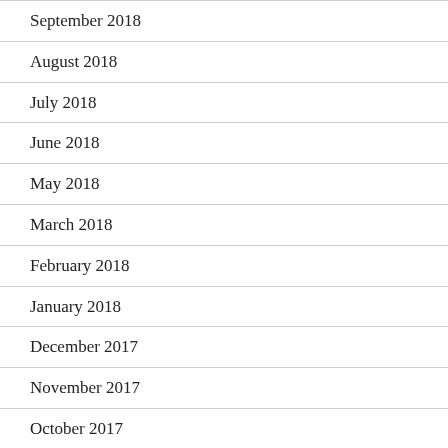September 2018
August 2018
July 2018
June 2018
May 2018
March 2018
February 2018
January 2018
December 2017
November 2017
October 2017